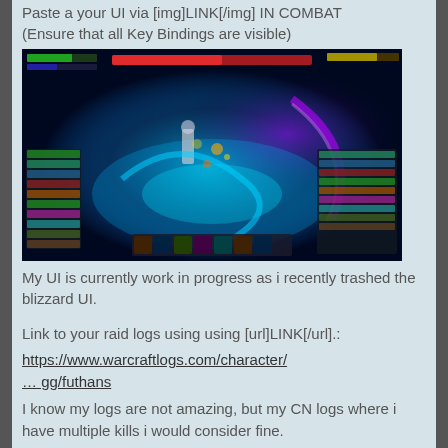Paste a your UI via [img]LINK[/img] IN COMBAT
(Ensure that all Key Bindings are visible)
[Figure (screenshot): World of Warcraft in-combat UI screenshot showing character abilities, action bars, raid frames, and combat effects with blue glowing visuals]
My UI is currently work in progress as i recently trashed the blizzard UI.
Link to your raid logs using using [url]LINK[/url].:
https://www.warcraftlogs.com/character/… gg/futhans
I know my logs are not amazing, but my CN logs where i have multiple kills i would consider fine.